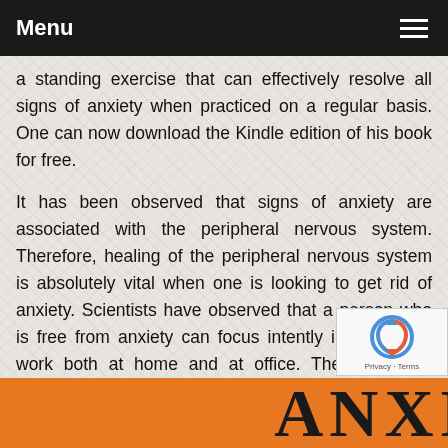Menu
a standing exercise that can effectively resolve all signs of anxiety when practiced on a regular basis. One can now download the Kindle edition of his book for free.
It has been observed that signs of anxiety are associated with the peripheral nervous system. Therefore, healing of the peripheral nervous system is absolutely vital when one is looking to get rid of anxiety. Scientists have observed that a person who is free from anxiety can focus intently in his or her work both at home and at office. They can also resolve complex situations easily and manage difficulties without getting worried in any way. So, it is quite understandable that people would want to get rid of anxiety and live in a healthy manner.
[Figure (other): Orange banner with large bold text reading ANXIETY in black serif letters on an orange background]